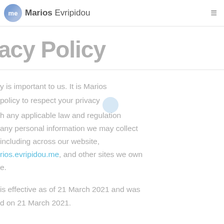Marios Evripidou
acy Policy
y is important to us. It is Marios policy to respect your privacy and h any applicable law and regulation any personal information we may collect including across our website, rios.evripidou.me, and other sites we own e.
is effective as of 21 March 2021 and was d on 21 March 2021.